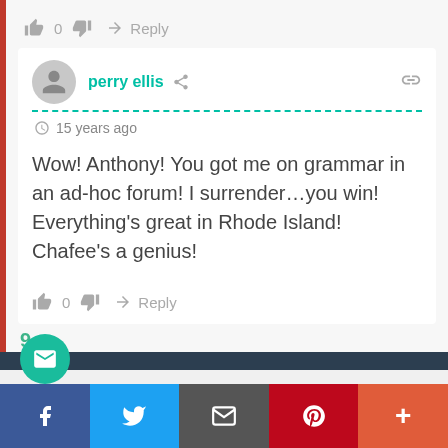👍 0 👎 → Reply
perry ellis  🔗  15 years ago
Wow! Anthony! You got me on grammar in an ad-hoc forum! I surrender…you win! Everything's great in Rhode Island! Chafee's a genius!
👍 0 👎 → Reply
[Figure (screenshot): Social sharing bar with Facebook, Twitter, Email, Pinterest, and More buttons at the bottom of the page]